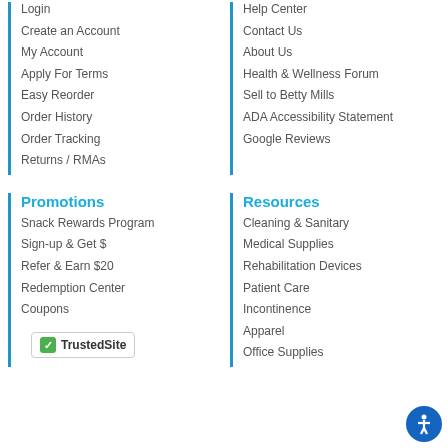Login
Create an Account
My Account
Apply For Terms
Easy Reorder
Order History
Order Tracking
Returns / RMAs
Help Center
Contact Us
About Us
Health & Wellness Forum
Sell to Betty Mills
ADA Accessibility Statement
Google Reviews
Promotions
Snack Rewards Program
Sign-up & Get $
Refer & Earn $20
Redemption Center
Coupons
Resources
Cleaning & Sanitary
Medical Supplies
Rehabilitation Devices
Patient Care
Incontinence
Apparel
Office Supplies
[Figure (logo): TrustedSite logo with green checkmark]